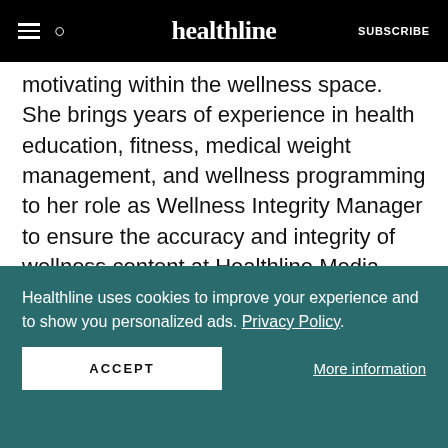healthline — SUBSCRIBE
motivating within the wellness space. She brings years of experience in health education, fitness, medical weight management, and wellness programming to her role as Wellness Integrity Manager to ensure the accuracy and integrity of wellness content at Healthline Media. Brooke holds a Master of Science in exercise science and is a certified strength and conditioning specialist.
[Figure (photo): Partial view of a person's profile photo in a circular crop, showing top of head with dark hair against a light background.]
Healthline uses cookies to improve your experience and to show you personalized ads. Privacy Policy.
ACCEPT
More information